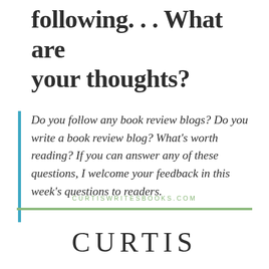following. . . What are your thoughts?
Do you follow any book review blogs? Do you write a book review blog? What's worth reading? If you can answer any of these questions, I welcome your feedback in this week's questions to readers.
CURTISWRITESBOOKS.COM
CURTIS